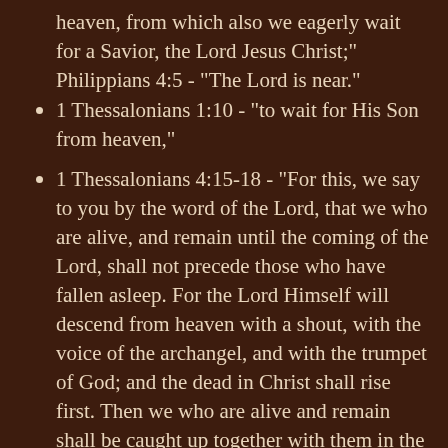heaven, from which also we eagerly wait for a Savior, the Lord Jesus Christ;"    Philippians 4:5 - "The Lord is near."
1 Thessalonians 1:10 - "to wait for His Son from heaven,"
1 Thessalonians 4:15-18 - "For this, we say to you by the word of the Lord, that we who are alive, and remain until the coming of the Lord, shall not precede those who have fallen asleep. For the Lord Himself will descend from heaven with a shout, with the voice of the archangel, and with the trumpet of God; and the dead in Christ shall rise first. Then we who are alive and remain shall be caught up together with them in the clouds to meet the Lord in the air, and thus we shall always be with the Lord. Therefore comfort one another with these words."